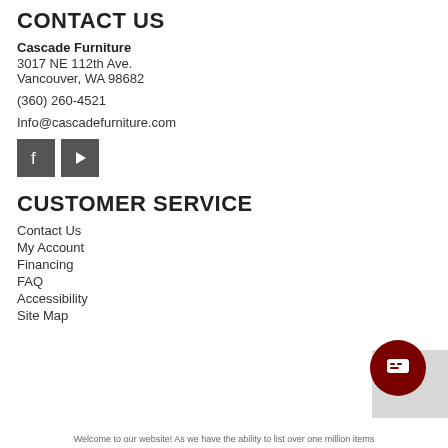CONTACT US
Cascade Furniture
3017 NE 112th Ave.
Vancouver, WA 98682
(360) 260-4521
Info@cascadefurniture.com
[Figure (other): Social media icons: Facebook and YouTube buttons (dark gray square icons with white logos)]
CUSTOMER SERVICE
Contact Us
My Account
Financing
FAQ
Accessibility
Site Map
[Figure (other): Dark red circular chat button with speech bubble icon]
Welcome to our website! As we have the ability to list over one million items